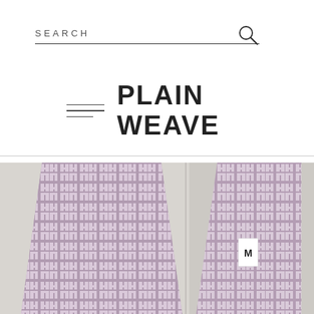SEARCH
PLAIN WEAVE
[Figure (photo): Two fabric swatches with geometric maze/fretwork pattern in mauve/purple on grey background, hanging against a textured white wall. The right swatch has a small white label with the letter M.]